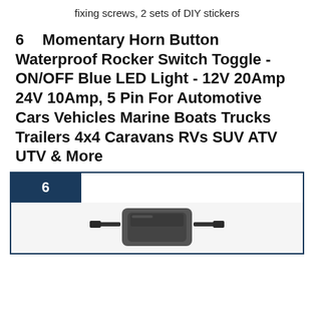fixing screws, 2 sets of DIY stickers
6    Momentary Horn Button Waterproof Rocker Switch Toggle - ON/OFF Blue LED Light - 12V 20Amp 24V 10Amp, 5 Pin For Automotive Cars Vehicles Marine Boats Trucks Trailers 4x4 Caravans RVs SUV ATV UTV & More
[Figure (photo): Product listing card with dark blue badge showing number 6 and a photo of a rocker switch toggle at the bottom]